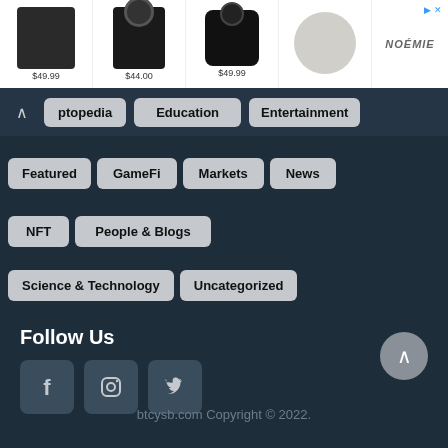[Figure (screenshot): Advertisement banner showing leather accessories (phone case, key case, AirPods case, coin purse) with prices, and Noémie brand logo]
ptopedia
Education
Entertainment
Featured
GameFi
Markets
News
NFT
People & Blogs
Science & Technology
Uncategorized
Follow Us
[Figure (infographic): Three social media icon buttons: Facebook (f), Instagram (camera), Twitter (bird)]
btcysb.com Copyright © 2022.